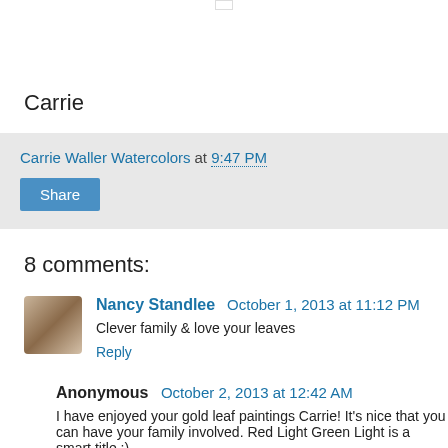[Figure (photo): Strip of 5 thumbnail images: autumn leaves, orange/red leaf, gray stones, green fruits, tan/beige objects]
Carrie
Carrie Waller Watercolors at 9:47 PM
Share
8 comments:
Nancy Standlee  October 1, 2013 at 11:12 PM
Clever family & love your leaves
Reply
Anonymous  October 2, 2013 at 12:42 AM
I have enjoyed your gold leaf paintings Carrie! It's nice that you can have your family involved. Red Light Green Light is a smart title :)